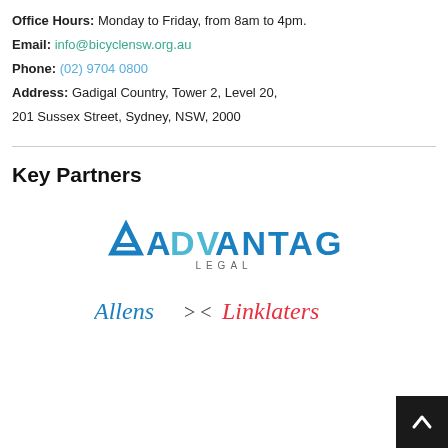Office Hours: Monday to Friday, from 8am to 4pm.
Email: info@bicyclensw.org.au
Phone: (02) 9704 0800
Address: Gadigal Country, Tower 2, Level 20, 201 Sussex Street, Sydney, NSW, 2000
Key Partners
[Figure (logo): Advantage Legal logo — 'ADVANTAGE' in large blue/teal bold letters with a triangle A-mark, 'LEGAL' in spaced grey capitals below]
[Figure (logo): Allens > < Linklaters logo — 'Allens' in blue italic, '> <' arrows, 'Linklaters' in red italic]